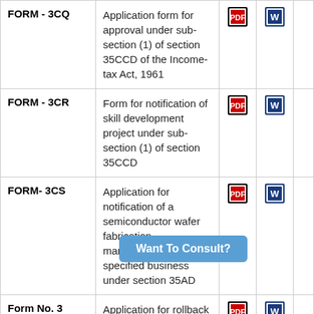| Form | Description | PDF | Word |  |
| --- | --- | --- | --- | --- |
| FORM - 3CQ | Application form for approval under sub-section (1) of section 35CCD of the Income-tax Act, 1961 | [PDF] | [W] |  |
| FORM - 3CR | Form for notification of skill development project under sub-section (1) of section 35CCD | [PDF] | [W] |  |
| FORM- 3CS | Application for notification of a semiconductor wafer fabrication manufacturing unit as specified business under section 35AD | [PDF] | [W] |  |
| Form No. 3 CEDA | Application for rollback of an Advance Pricing Agreement | [PDF] | [W] |  |
| FORM - 4 | Notice of commencement of planting/replanting tea bushes | [PDF] | [W] |  |
| FORM - 5 | Certificate of planting / replanting tea bushes | [PDF] | [W] |  |
| FORM - | ...ars for purposes | [PDF] | [W] |  |
Want To Consult?